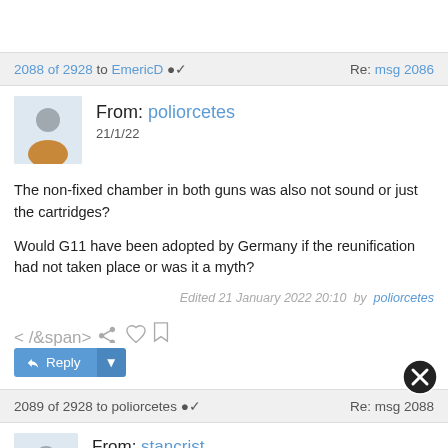2088 of 2928 to EmericD ✓   Re: msg 2086
From: poliorcetes
21/1/22
The non-fixed chamber in both guns was also not sound or just the cartridges?

Would G11 have been adopted by Germany if the reunification had not taken place or was it a myth?
Edited 21 January 2022 20:10  by  poliorcetes
2089 of 2928 to poliorcetes ✓   Re: msg 2088
From: stancrist